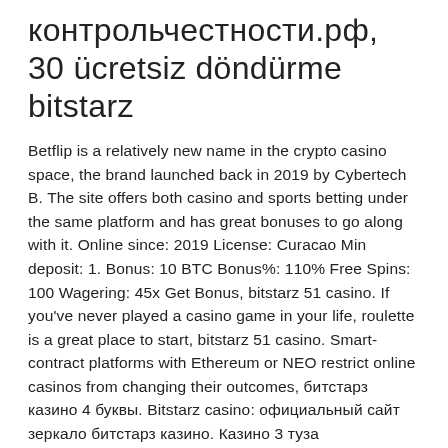контрольчестности.рф, 30 ücretsiz döndürme bitstarz
Betflip is a relatively new name in the crypto casino space, the brand launched back in 2019 by Cybertech B. The site offers both casino and sports betting under the same platform and has great bonuses to go along with it. Online since: 2019 License: Curacao Min deposit: 1. Bonus: 10 BTC Bonus%: 110% Free Spins: 100 Wagering: 45x Get Bonus, bitstarz 51 casino. If you've never played a casino game in your life, roulette is a great place to start, bitstarz 51 casino. Smart-contract platforms with Ethereum or NEO restrict online casinos from changing their outcomes, битстарз казино 4 буквы. Bitstarz casino: официальный сайт зеркало битстарз казино. Казино 3 туза